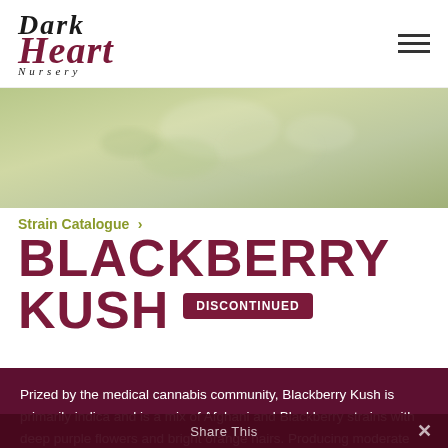[Figure (logo): Dark Heart Nursery logo with stylized serif text in black and dark red/maroon]
[Figure (photo): Muted olive-green banner hero image showing blurred cannabis plant background]
Strain Catalogue >
BLACKBERRY KUSH DISCONTINUED
Prized by the medical cannabis community, Blackberry Kush is primarily indica and is a mix of Afghani and Blackberry strains with deep purple flowers and bright orange hairs. Producing moderate yields with hard, dense buds that are heavily crystallized, Blackberry Kush has a strong jet-fuel scent and flavor tapered by delicious sweet berries.
Share This